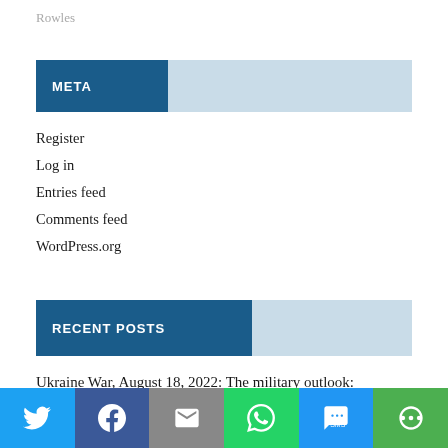Rowles
META
Register
Log in
Entries feed
Comments feed
WordPress.org
RECENT POSTS
Ukraine War, August 18, 2022: The military outlook:
[Figure (infographic): Social sharing bar with Twitter, Facebook, Email, WhatsApp, SMS, and More buttons]